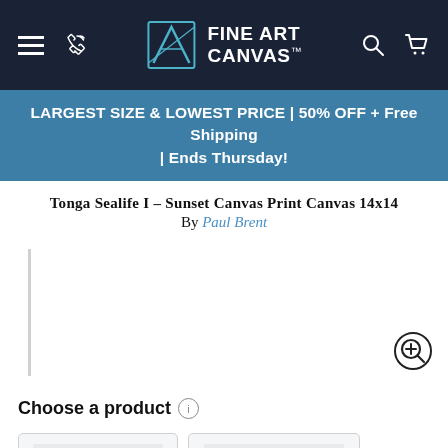[Figure (screenshot): Fine Art Canvas website navigation bar with hamburger menu, phone icon, logo, search and cart icons on dark navy background]
LARGEST SIZE & LOWEST PRICE | 50% OFF + Free Shipping | Ends Thursday!
Tonga Sealife I – Sunset Canvas Print Canvas 14x14
By Paul Brent
[Figure (other): Product image placeholder area with vertical line on left side and zoom-in button in bottom right corner]
Choose a product
[Figure (other): Two product type selection cards showing canvas print options - one with white frame and one with dark frame, both showing light blue placeholder image]